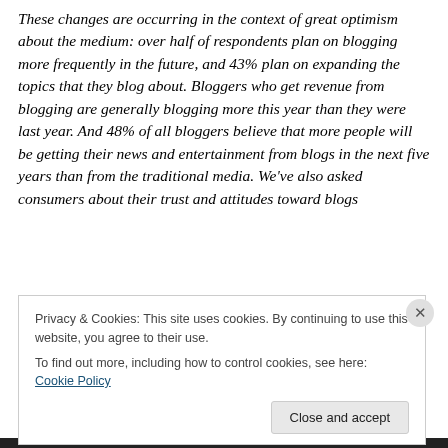These changes are occurring in the context of great optimism about the medium: over half of respondents plan on blogging more frequently in the future, and 43% plan on expanding the topics that they blog about. Bloggers who get revenue from blogging are generally blogging more this year than they were last year. And 48% of all bloggers believe that more people will be getting their news and entertainment from blogs in the next five years than from the traditional media. We've also asked consumers about their trust and attitudes toward blogs
Privacy & Cookies: This site uses cookies. By continuing to use this website, you agree to their use.
To find out more, including how to control cookies, see here: Cookie Policy